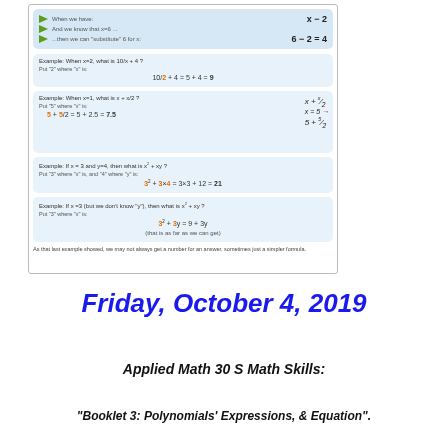[Figure (screenshot): Educational screenshot showing substitution examples with green arrows and blue boxes demonstrating algebraic substitution: x-2, examples with x=2, x=1, x=3 y=4, and x=3 without knowing y.]
Friday, October 4, 2019
Applied Math 30 S Math Skills:
"Booklet 3: Polynomials' Expressions, & Equation".